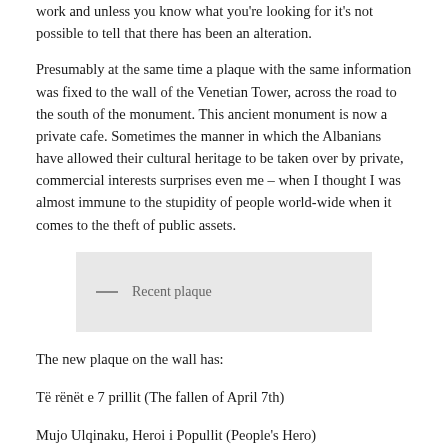work and unless you know what you're looking for it's not possible to tell that there has been an alteration.
Presumably at the same time a plaque with the same information was fixed to the wall of the Venetian Tower, across the road to the south of the monument. This ancient monument is now a private cafe. Sometimes the manner in which the Albanians have allowed their cultural heritage to be taken over by private, commercial interests surprises even me – when I thought I was almost immune to the stupidity of people world-wide when it comes to the theft of public assets.
[Figure (photo): Grey placeholder box with a dash and the label 'Recent plaque']
The new plaque on the wall has:
Të rënët e 7 prillit (The fallen of April 7th)
Mujo Ulqinaku, Heroi i Popullit (People's Hero)